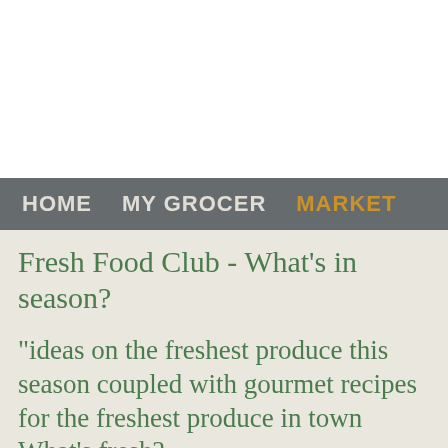HOME   MY GROCER   MARKET
Fresh Food Club - What's in season?
"ideas on the freshest produce this season coupled with gourmet recipes for the freshest produce in town
What's fresh?